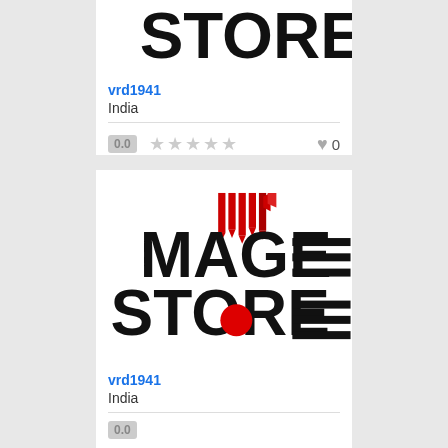[Figure (logo): Partial view of a logo showing large black text letters (bottom portion visible), appears to be 'STORE' or similar]
vrd1941
India
0.0  ★★★★★  0
[Figure (logo): MAGESTORE logo with large black bold text showing 'MAGE STORE' with red circle on O and red arrow decorations, horizontal lines on right side]
vrd1941
India